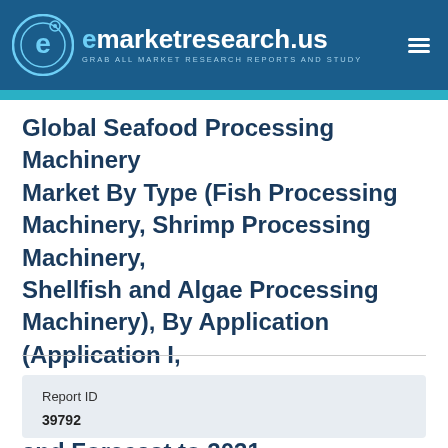[Figure (logo): emarketresearch.us logo with blue background, circular E icon, site name and tagline 'GRAB ALL MARKET RESEARCH REPORTS AND STUDY']
Global Seafood Processing Machinery Market By Type (Fish Processing Machinery, Shrimp Processing Machinery, Shellfish and Algae Processing Machinery), By Application (Application I, Application II), By Region, By Key Players and Forecast to 2031
| Report ID |  |
| --- | --- |
| 39792 |  |